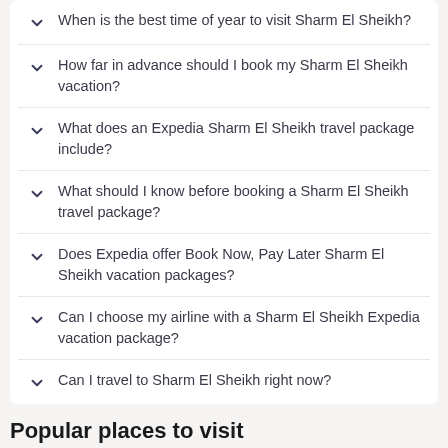When is the best time of year to visit Sharm El Sheikh?
How far in advance should I book my Sharm El Sheikh vacation?
What does an Expedia Sharm El Sheikh travel package include?
What should I know before booking a Sharm El Sheikh travel package?
Does Expedia offer Book Now, Pay Later Sharm El Sheikh vacation packages?
Can I choose my airline with a Sharm El Sheikh Expedia vacation package?
Can I travel to Sharm El Sheikh right now?
Popular places to visit
[Figure (photo): Image for Naama Bay travel destination card with heart/bookmark button and decorative travel icons]